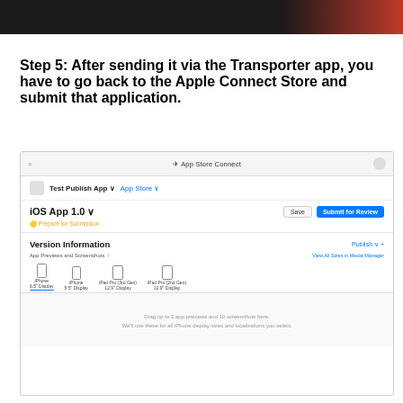[Figure (screenshot): Dark banner image at top of page]
Step 5: After sending it via the Transporter app, you have to go back to the Apple Connect Store and submit that application.
[Figure (screenshot): Screenshot of App Store Connect interface showing iOS App 1.0 with Submit for Review button, Version Information section, App Previews and Screenshots section with device tabs (iPhone 6.5 Display, iPhone 5.5 Display, iPad Pro 3rd Gen 12.9 Display, iPad Pro 2nd Gen 12.9 Display) and a drag and drop zone.]